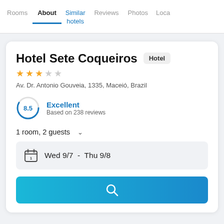Rooms | About | Similar hotels | Reviews | Photos | Loca...
Hotel Sete Coqueiros
Hotel
★★★☆☆
Av. Dr. Antonio Gouveia, 1335, Maceió, Brazil
8.5 Excellent
Based on 238 reviews
1 room, 2 guests ∨
Wed 9/7  -  Thu 9/8
[Figure (other): Blue search button with magnifying glass icon]